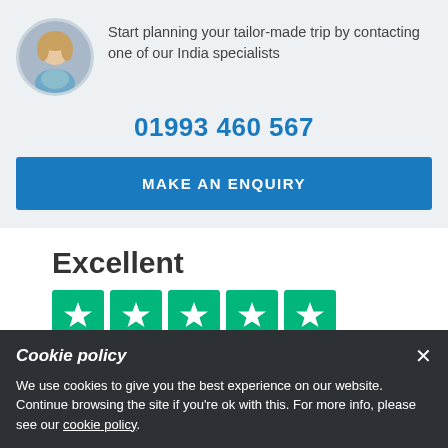[Figure (photo): Circular avatar photo of a blonde female travel specialist]
Start planning your tailor-made trip by contacting one of our India specialists
01993 460 567
MAKE AN ENQUIRY
Excellent
[Figure (other): Five Trustpilot star rating boxes in green with white stars]
TrustScore 4.8 | 3055 reviews
Trustpilot
Cookie policy
We use cookies to give you the best experience on our website. Continue browsing the site if you're ok with this. For more info, please see our cookie policy.